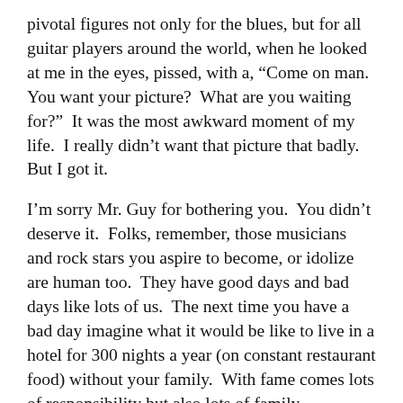pivotal figures not only for the blues, but for all guitar players around the world, when he looked at me in the eyes, pissed, with a, “Come on man.  You want your picture?  What are you waiting for?”  It was the most awkward moment of my life.  I really didn’t want that picture that badly.  But I got it.
I’m sorry Mr. Guy for bothering you.  You didn’t deserve it.  Folks, remember, those musicians and rock stars you aspire to become, or idolize are human too.  They have good days and bad days like lots of us.  The next time you have a bad day imagine what it would be like to live in a hotel for 300 nights a year (on constant restaurant food) without your family.  With fame comes lots of responsibility but also lots of family challenges (does any celebrity have a normal family life?).  I don’t know anybody that enjoys being harassed by